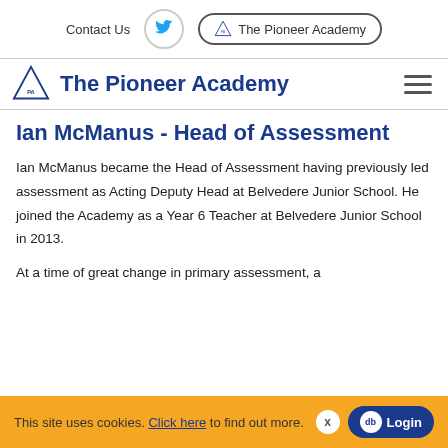Contact Us  |  The Pioneer Academy
The Pioneer Academy
Ian McManus - Head of Assessment
Ian McManus became the Head of Assessment having previously led assessment as Acting Deputy Head at Belvedere Junior School. He joined the Academy as a Year 6 Teacher at Belvedere Junior School in 2013.
At a time of great change in primary assessment, a
This site uses cookies. Click here to find out more.  x  db Login